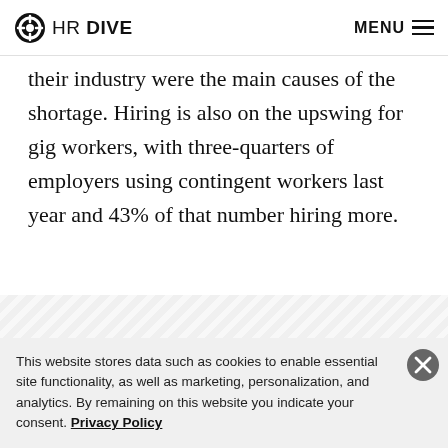HR DIVE  MENU
their industry were the main causes of the shortage. Hiring is also on the upswing for gig workers, with three-quarters of employers using contingent workers last year and 43% of that number hiring more.
This website stores data such as cookies to enable essential site functionality, as well as marketing, personalization, and analytics. By remaining on this website you indicate your consent. Privacy Policy